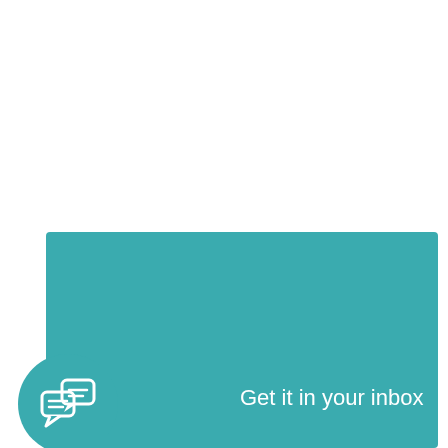[Figure (illustration): Teal rectangular banner with a circular teal icon containing two speech bubbles (chat icon) on the left, and the text 'Get it in your inbox' in white on the right.]